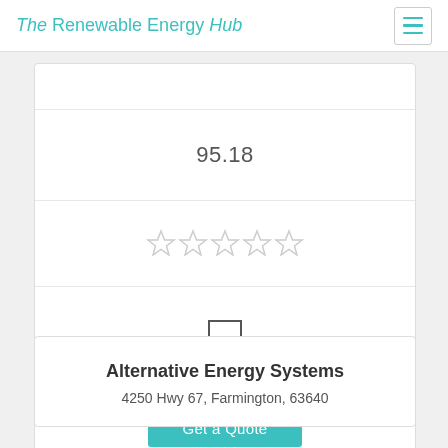The Renewable Energy Hub
95.18
[Figure (other): Five empty star rating icons in light gray]
[Figure (other): Empty checkbox square]
Get a Quote
Alternative Energy Systems
4250 Hwy 67, Farmington, 63640